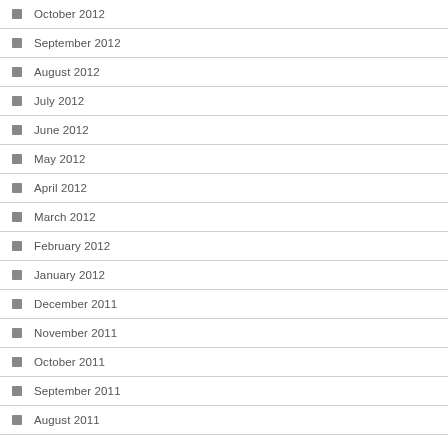October 2012
September 2012
August 2012
July 2012
June 2012
May 2012
April 2012
March 2012
February 2012
January 2012
December 2011
November 2011
October 2011
September 2011
August 2011